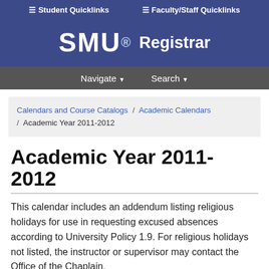≡ Student Quicklinks   ≡ Faculty/Staff Quicklinks
[Figure (logo): SMU Registrar logo with white text on blue background]
Navigate ▾   Search ▾
Calendars and Course Catalogs / Academic Calendars / Academic Year 2011-2012
Academic Year 2011-2012
This calendar includes an addendum listing religious holidays for use in requesting excused absences according to University Policy 1.9. For religious holidays not listed, the instructor or supervisor may contact the Office of the Chaplain.